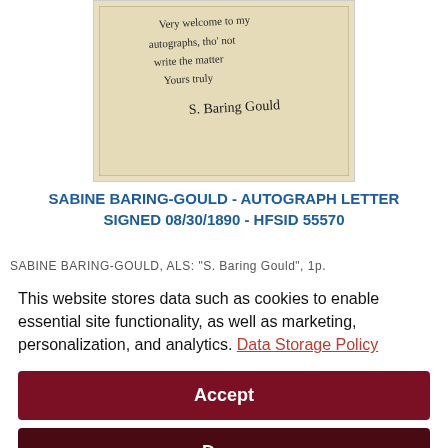[Figure (photo): Photograph of a handwritten autograph letter on aged yellowish paper, signed by S. Baring Gould, showing cursive handwriting with text including 'Very welcome to my autographs, tho' not write the matter, Yours truly, S. Baring Gould'.]
SABINE BARING-GOULD - AUTOGRAPH LETTER SIGNED 08/30/1890 - HFSID 55570
SABINE BARING-GOULD, ALS: "S. Baring Gould". 1p.
This website stores data such as cookies to enable essential site functionality, as well as marketing, personalization, and analytics. Data Storage Policy
Accept
Deny